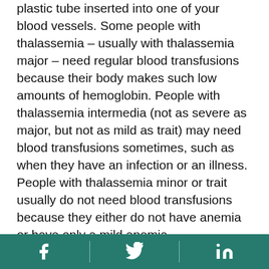plastic tube inserted into one of your blood vessels. Some people with thalassemia – usually with thalassemia major – need regular blood transfusions because their body makes such low amounts of hemoglobin. People with thalassemia intermedia (not as severe as major, but not as mild as trait) may need blood transfusions sometimes, such as when they have an infection or an illness. People with thalassemia minor or trait usually do not need blood transfusions because they either do not have anemia or have only a mild anemia.

Many times people with thalassemia are prescribed a supplemental B vitamin, known as folic acid, to help treat anemia. Folic acid can help red blood cells develop. Treatment with folic acid is usually done in addition to other therapies.
Facebook | Twitter | LinkedIn social icons